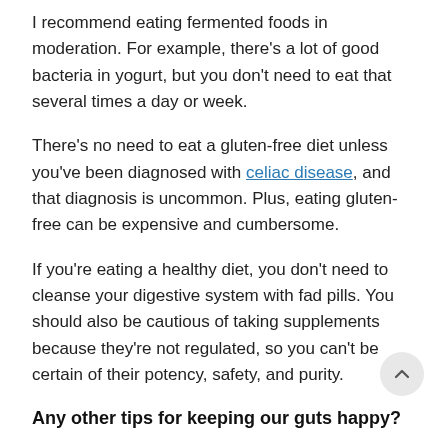I recommend eating fermented foods in moderation. For example, there's a lot of good bacteria in yogurt, but you don't need to eat that several times a day or week.
There's no need to eat a gluten-free diet unless you've been diagnosed with celiac disease, and that diagnosis is uncommon. Plus, eating gluten-free can be expensive and cumbersome.
If you're eating a healthy diet, you don't need to cleanse your digestive system with fad pills. You should also be cautious of taking supplements because they're not regulated, so you can't be certain of their potency, safety, and purity.
Any other tips for keeping our guts happy?